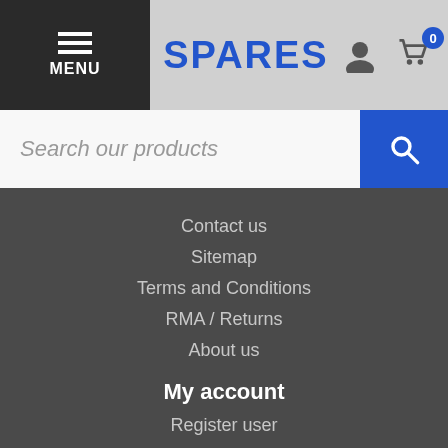MENU | SPARES | 0
Search our products
Contact us
Sitemap
Terms and Conditions
RMA / Returns
About us
My account
Register user
My orders
My address
Return delivery note
Store Information